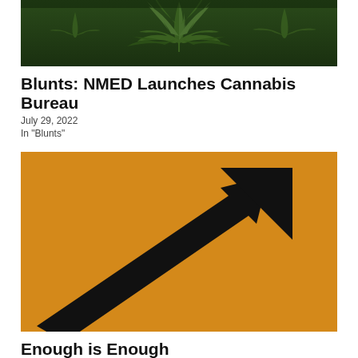[Figure (photo): Close-up photo of cannabis/marijuana plant leaves with dark green foliage]
Blunts: NMED Launches Cannabis Bureau
July 29, 2022
In "Blunts"
[Figure (photo): Black silhouette of an upward pointing arrow on an orange background]
Enough is Enough
August 12, 2022
In "Rolling Paper"